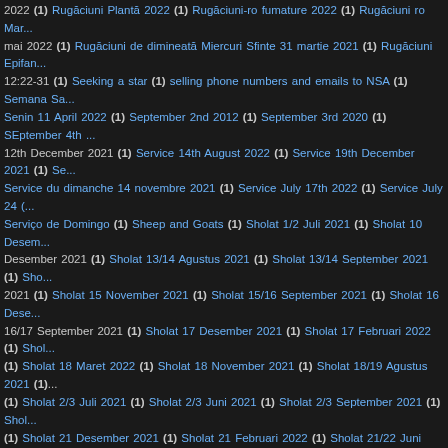2022 (1) Rugăciuni Plantă 2022 (1) Rugăciuni-ro fumature 2022 (1) Rugăciuni ro Mar... mai 2022 (1) Rugăciuni de dimineată Miercuri Sfinte 31 martie 2021 (1) Rugăciuni Epifan... 12:22-31 (1) Seeking a star (1) selling phone numbers and emails to NSA (1) Semana Sa... Senin 11 April 2022 (1) September 2nd 2012 (1) September 3rd 2020 (1) SEptember 4th ... 12th December 2021 (1) Service 14th August 2022 (1) Service 19th December 2021 (1) Se... Service du dimanche 14 novembre 2021 (1) Service July 17th 2022 (1) Service July 24 (... Serviço de Domingo (1) Sheep and Goats (1) Sholat 1/2 Juli 2021 (1) Sholat 10 Desem... Desember 2021 (1) Sholat 13/14 Agustus 2021 (1) Sholat 13/14 September 2021 (1) Sho... 2021 (1) Sholat 15 November 2021 (1) Sholat 15/16 September 2021 (1) Sholat 16 Dese... 16/17 September 2021 (1) Sholat 17 Desember 2021 (1) Sholat 17 Februari 2022 (1) Shol... (1) Sholat 18 Maret 2022 (1) Sholat 18 November 2021 (1) Sholat 18/19 Agustus 2021 (1)... (1) Sholat 2/3 Juli 2021 (1) Sholat 2/3 Juni 2021 (1) Sholat 2/3 September 2021 (1) Shol... (1) Sholat 21 Desember 2021 (1) Sholat 21 Februari 2022 (1) Sholat 21/22 Juni 2021 (... November 2021 (1) Sholat 22/23 Juli 2021 (1) Sholat 22/23 Juni 2021 (1) Sholat 22/23 Ok... Sholat 23/24 Juli 2021 (1) Sholat 23/24 September 2021 (1) Sholat 24 November 2021 ... Agustus 2021 (1) Sholat 25/26 Oktober 2021 (1) Sholat 26 November 2021 (1) Sholat 26/2... 27/28 September 2021 (1) Sholat 28 April 2022 (1) Sholat 28 Februari 2022 (1) Sholat 28... Sholat 29 Desember 2021 (1) Sholat 29 Maret 2022 (1) Sholat 29/30 Juni 2021 (1) Sholat... (1) Sholat 3/4 September 2021 (1) Sholat 30 Desember 2021 (1) Sholat 30 November 202... 2021 (1) Sholat 31 Maret 2022 (1) Sholat 31/1 Agustus 2021 (1) Sholat 4/5 Juni 2021 (1) S... 8/9 Juli 2021 (1) Sholat 8/9 Juni 2021 (1) Shrove Sali (1) Shrove Tuesday (3) Simnel... 8/9 April 2021 (1) sorting out your life (1) Sourced Market (1) South Kensington. (1) Spiritu... June 2020 Remembering Windrush (1) Sunday 28th June 2020 Remembering Windrush (... (1) Sunday Service 21st November 2021 (1) Sunday Service 22nd November 2020 (1) Sw... (1) Temptation and Wilderness (1) Tertiary colours (1) The Angel appears to Joseph (1) The...